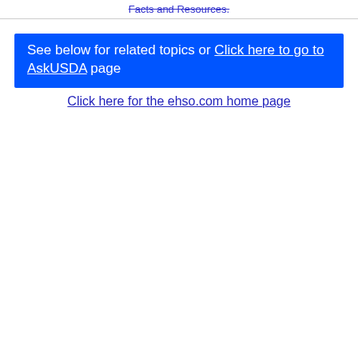Facts and Resources.
See below for related topics or Click here to go to AskUSDA page
Click here for the ehso.com home page